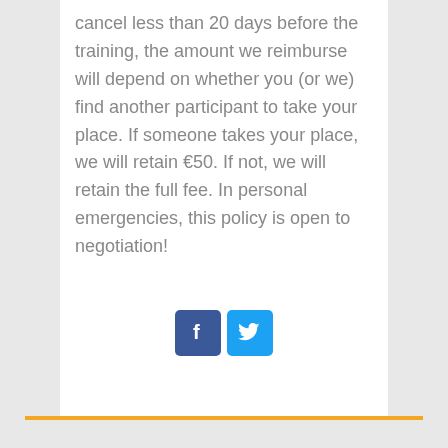cancel less than 20 days before the training, the amount we reimburse will depend on whether you (or we) find another participant to take your place. If someone takes your place, we will retain €50. If not, we will retain the full fee. In personal emergencies, this policy is open to negotiation!
[Figure (infographic): Social media share icons: Facebook (dark blue square with white 'f') and Twitter (light blue square with white bird)]